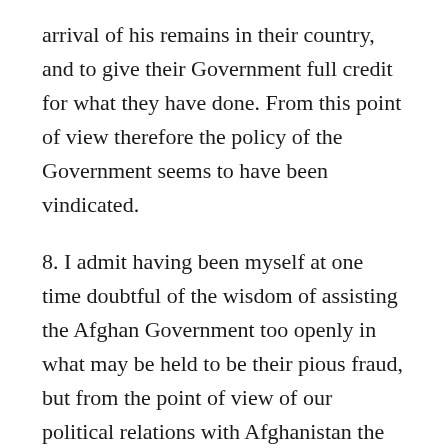arrival of his remains in their country, and to give their Government full credit for what they have done. From this point of view therefore the policy of the Government seems to have been vindicated.
8. I admit having been myself at one time doubtful of the wisdom of assisting the Afghan Government too openly in what may be held to be their pious fraud, but from the point of view of our political relations with Afghanistan the provision of facilities for bringing the coffin by air from Baghdad to Karachi and the attention paid to it during its passage through India have been amply rewarded. The Afghans are highly gratified and I have received the most cordial letter from the Minister for Foreign Affairs expressing the appreciation of his